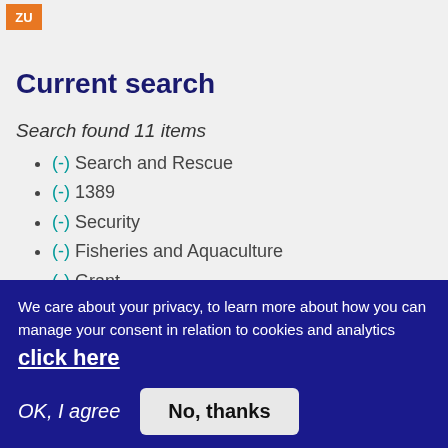ZU
Current search
Search found 11 items
(-) Search and Rescue
(-) 1389
(-) Security
(-) Fisheries and Aquaculture
(-) Grant
(-) Timing & Synchronisation (T&S)
We care about your privacy, to learn more about how you can manage your consent in relation to cookies and analytics click here
OK, I agree  No, thanks